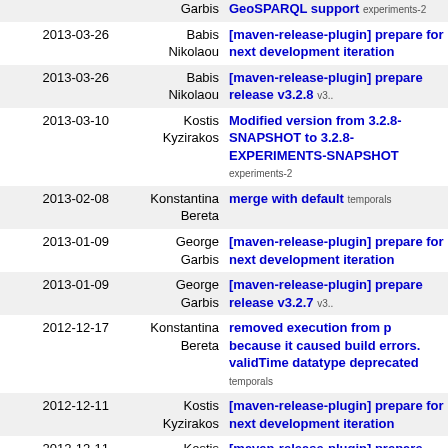| Date | Author | Message |
| --- | --- | --- |
|  | Garbis | GeoSPARQL support  experiments-2 |
| 2013-03-26 | Babis Nikolaou | [maven-release-plugin] prepare for next development iteration |
| 2013-03-26 | Babis Nikolaou | [maven-release-plugin] prepare release v3.2.8  v3... |
| 2013-03-10 | Kostis Kyzirakos | Modified version from 3.2.8-SNAPSHOT to 3.2.8-EXPERIMENTS-SNAPSHOT  experiments-2 |
| 2013-02-08 | Konstantina Bereta | merge with default  temporals |
| 2013-01-09 | George Garbis | [maven-release-plugin] prepare for next development iteration |
| 2013-01-09 | George Garbis | [maven-release-plugin] prepare release v3.2.7  v3... |
| 2012-12-17 | Konstantina Bereta | removed execution from p because it caused build errors. validTime datatype deprecated  temporals |
| 2012-12-11 | Kostis Kyzirakos | [maven-release-plugin] prepare for next development iteration |
| 2012-12-11 | Kostis Kyzirakos | [maven-release-plugin] prepare release v3.2.6  v3... |